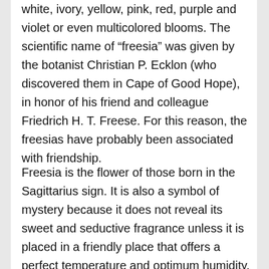white, ivory, yellow, pink, red, purple and violet or even multicolored blooms. The scientific name of “freesia” was given by the botanist Christian P. Ecklon (who discovered them in Cape of Good Hope), in honor of his friend and colleague Friedrich H. T. Freese. For this reason, the freesias have probably been associated with friendship.
Freesia is the flower of those born in the Sagittarius sign. It is also a symbol of mystery because it does not reveal its sweet and seductive fragrance unless it is placed in a friendly place that offers a perfect temperature and optimum humidity.